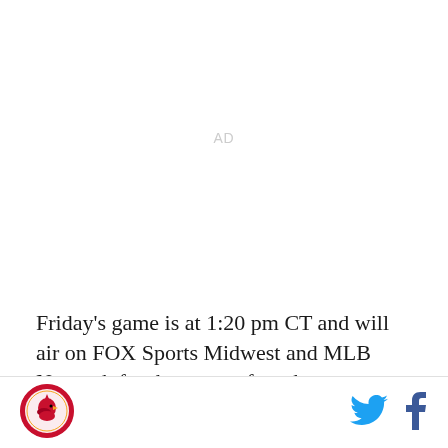AD
Friday's game is at 1:20 pm CT and will air on FOX Sports Midwest and MLB Network for those out of market.
[Figure (logo): Circular logo with cardinal bird and text, red and gold colors]
[Figure (logo): Twitter bird icon in cyan blue]
[Figure (logo): Facebook 'f' icon in dark blue]